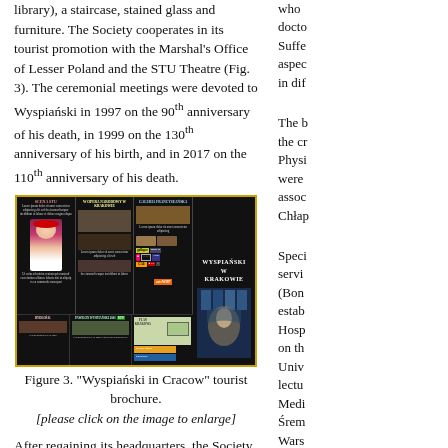library), a staircase, stained glass and furniture. The Society cooperates in its tourist promotion with the Marshal's Office of Lesser Poland and the STU Theatre (Fig. 3). The ceremonial meetings were devoted to Wyspiański in 1997 on the 90th anniversary of his death, in 1999 on the 130th anniversary of his birth, and in 2017 on the 110th anniversary of his death.
[Figure (photo): Photograph of the 'Wyspiański in Cracow' tourist brochure, showing multiple panels with text columns, images of artworks, maps, and the cover featuring stained glass and portrait.]
Figure 3. "Wyspiański in Cracow" tourist brochure.
[please click on the image to enlarge]
After regaining its headquarters, the Society implemented the present directions of activity by organizing traditional weekly "Wednesday" meetings at its own premises; about 32-34 per year
who docto Suffe aspec in dif
The b the cr Physi were assoc Chłap
Speci servi (Bon estab Hosp on th Univ lectu Medi Śrem Wars Ukra
The a twice